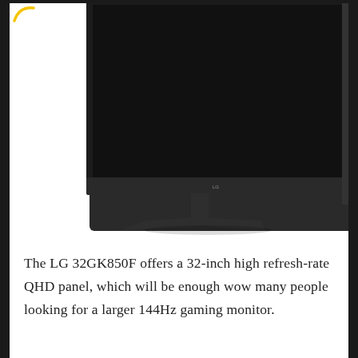[Figure (photo): Photo of an LG 32GK850F gaming monitor showing the bottom-right portion of the monitor with its black stand on a white background. A partial yellow arc logo is visible in the top-left corner.]
The LG 32GK850F offers a 32-inch high refresh-rate QHD panel, which will be enough wow many people looking for a larger 144Hz gaming monitor.